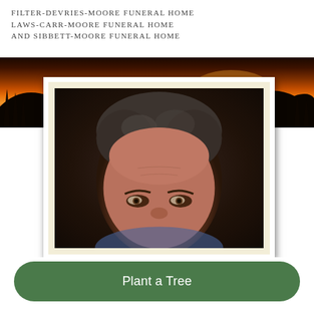FILTER-DEVRIES-MOORE FUNERAL HOME
LAWS-CARR-MOORE FUNERAL HOME
AND SIBBETT-MOORE FUNERAL HOME
[Figure (photo): Composite image: sunset background with silhouette of person in boat on water, overlaid with a framed portrait photo showing close-up of a middle-aged man with dark gray hair and brown eyes]
Plant a Tree